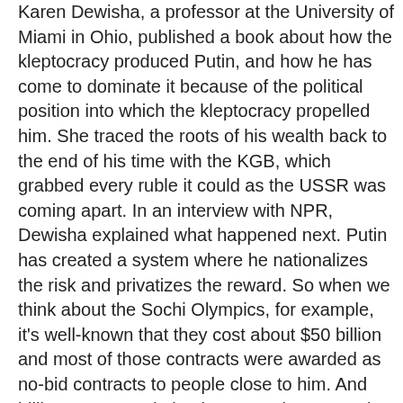Karen Dewisha, a professor at the University of Miami in Ohio, published a book about how the kleptocracy produced Putin, and how he has come to dominate it because of the political position into which the kleptocracy propelled him. She traced the roots of his wealth back to the end of his time with the KGB, which grabbed every ruble it could as the USSR was coming apart. In an interview with NPR, Dewisha explained what happened next. Putin has created a system where he nationalizes the risk and privatizes the reward. So when we think about the Sochi Olympics, for example, it's well-known that they cost about $50 billion and most of those contracts were awarded as no-bid contracts to people close to him. And billions were made by them. Another example would be the collaboration of